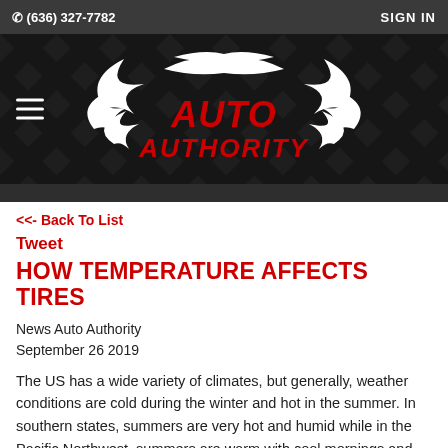☎ (636) 327-7782   SIGN IN
[Figure (logo): Auto Authority logo — white flame-style graphic with red 'Auto Authority' text on dark diamond-pattern background, with hamburger menu icon on left]
<< - Back To List
Tweet
HOW TEMPERATURE AFFECTS TIRES
News Auto Authority
September 26 2019
The US has a wide variety of climates, but generally, weather conditions are cold during the winter and hot in the summer. In southern states, summers are very hot and humid while in the Pacific Northwest, summers are warm with cool mornings and evening conditions. Winter in the South is mild, but in the